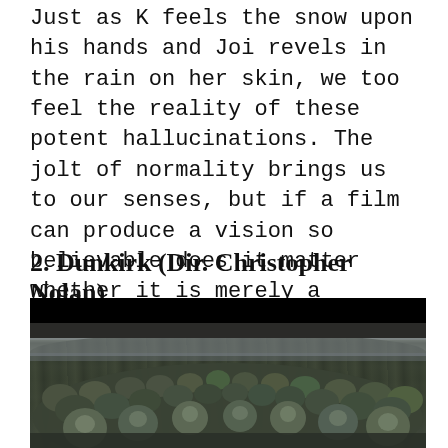Just as K feels the snow upon his hands and Joi revels in the rain on her skin, we too feel the reality of these potent hallucinations. The jolt of normality brings us to our senses, but if a film can produce a vision so believable does it matter whether it is merely a Replicant or real?
2. Dunkirk (Dir. Christopher Nolan)
[Figure (photo): A scene from the film Dunkirk showing a large crowd of soldiers in World War II uniforms and helmets, packed tightly together, looking upward. The scene has a grey, overcast sky and a muted, desaturated color palette. Shot from within the crowd looking outward.]